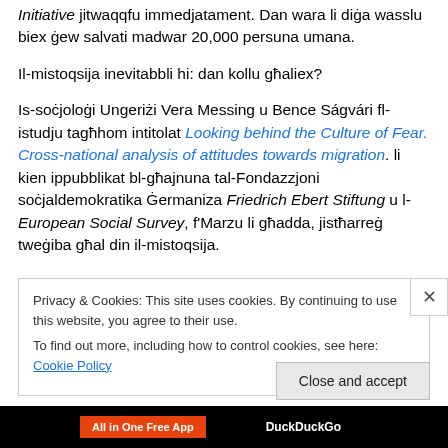Initiative jitwaqqfu immedjatament. Dan wara li diġa wasslu biex ġew salvati madwar 20,000 persuna umana.
Il-mistoqsija inevitabbli hi: dan kollu għaliex?
Is-soċjoloġi Ungeriżi Vera Messing u Bence Ságvári fl-istudju tagħhom intitolat Looking behind the Culture of Fear. Cross-national analysis of attitudes towards migration. li kien ippubblikat bl-għajnuna tal-Fondazzjoni soċjaldemokratika Ġermaniza Friedrich Ebert Stiftung u l-European Social Survey, f'Marzu li għadda, jistħarreġ tweġiba għal din il-mistoqsija.
Privacy & Cookies: This site uses cookies. By continuing to use this website, you agree to their use.
To find out more, including how to control cookies, see here: Cookie Policy
Close and accept
All in One Free App   DuckDuckGo